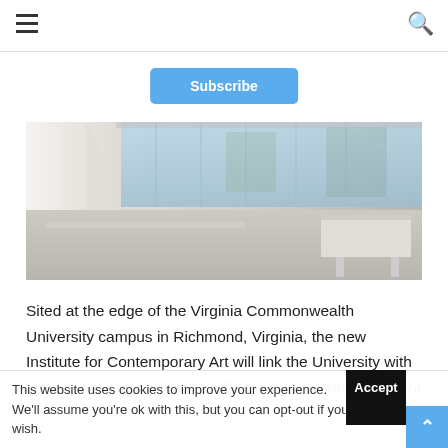Navigation header with hamburger menu and search icon
Subscribe
[Figure (photo): Interior of the Institute for Contemporary Art at Virginia Commonwealth University — a bright, open gallery space with polished concrete floors, large floor-to-ceiling windows, a curved white wall element, and a reception desk area on the right.]
Sited at the edge of the Virginia Commonwealth University campus in Richmond, Virginia, the new Institute for Contemporary Art will link the University with the surrounding community. On the busiest intersection of
This website uses cookies to improve your experience. We'll assume you're ok with this, but you can opt-out if you wish.
Accept